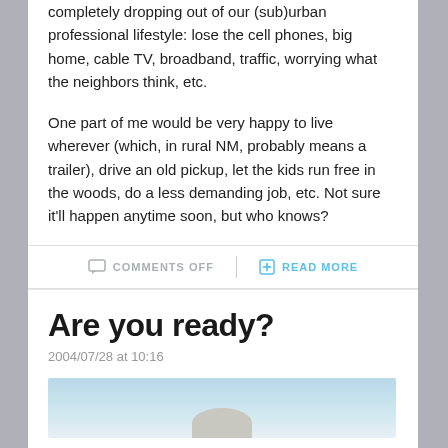completely dropping out of our (sub)urban professional lifestyle: lose the cell phones, big home, cable TV, broadband, traffic, worrying what the neighbors think, etc.
One part of me would be very happy to live wherever (which, in rural NM, probably means a trailer), drive an old pickup, let the kids run free in the woods, do a less demanding job, etc. Not sure it'll happen anytime soon, but who knows?
COMMENTS OFF  |  READ MORE
Are you ready?
2004/07/28 at 10:16
[Figure (photo): Partial photo visible at bottom of page, appears to show an outdoor scene with sky and a figure or object.]